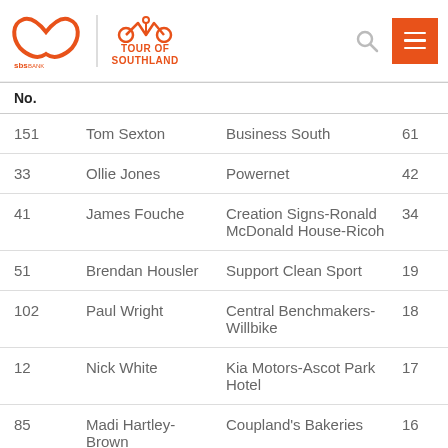SBS Tour of Southland
| NO. | Name | Team | Points |
| --- | --- | --- | --- |
| 151 | Tom Sexton | Business South | 61 |
| 33 | Ollie Jones | Powernet | 42 |
| 41 | James Fouche | Creation Signs-Ronald McDonald House-Ricoh | 34 |
| 51 | Brendan Housler | Support Clean Sport | 19 |
| 102 | Paul Wright | Central Benchmakers-Willbike | 18 |
| 12 | Nick White | Kia Motors-Ascot Park Hotel | 17 |
| 85 | Madi Hartley-Brown | Coupland's Bakeries | 16 |